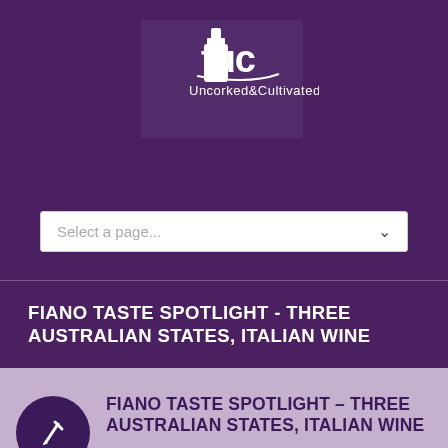[Figure (logo): Uncorked & Cultivated logo with stylized 'tuc' lettering in white on dark purple background]
[Figure (screenshot): Dropdown select box with placeholder text 'Select a page...' and chevron icon]
FIANO TASTE SPOTLIGHT - THREE AUSTRALIAN STATES, ITALIAN WINE
FIANO TASTE SPOTLIGHT – THREE AUSTRALIAN STATES, ITALIAN WINE
[Figure (photo): Vineyard photo showing green vines against a sky background, partially visible at bottom right]